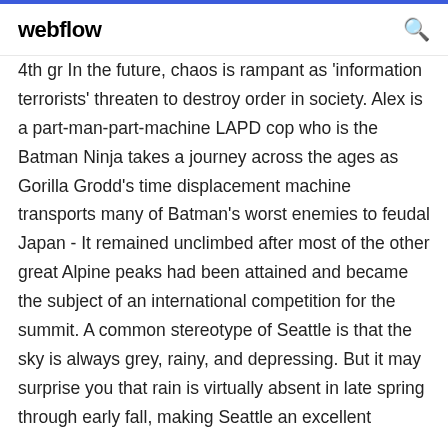webflow
4th gr In the future, chaos is rampant as 'information terrorists' threaten to destroy order in society. Alex is a part-man-part-machine LAPD cop who is the Batman Ninja takes a journey across the ages as Gorilla Grodd's time displacement machine transports many of Batman's worst enemies to feudal Japan - It remained unclimbed after most of the other great Alpine peaks had been attained and became the subject of an international competition for the summit. A common stereotype of Seattle is that the sky is always grey, rainy, and depressing. But it may surprise you that rain is virtually absent in late spring through early fall, making Seattle an excellent